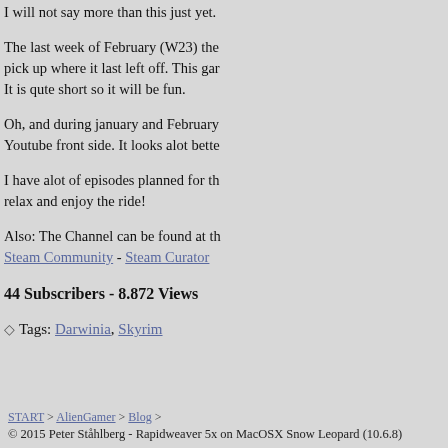I will not say more than this just yet.
The last week of February (W23) the pick up where it last left off. This gar It is qute short so it will be fun.
Oh, and during january and February Youtube front side. It looks alot bette
I have alot of episodes planned for th relax and enjoy the ride!
Also: The Channel can be found at th Steam Community - Steam Curator
44 Subscribers - 8.872 Views
Tags: Darwinia, Skyrim
START > AlienGamer > Blog >
© 2015 Peter Ståhlberg - Rapidweaver 5x on MacOSX Snow Leopard (10.6.8)